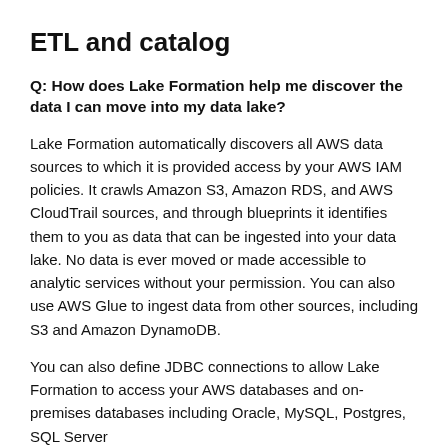ETL and catalog
Q: How does Lake Formation help me discover the data I can move into my data lake?
Lake Formation automatically discovers all AWS data sources to which it is provided access by your AWS IAM policies. It crawls Amazon S3, Amazon RDS, and AWS CloudTrail sources, and through blueprints it identifies them to you as data that can be ingested into your data lake. No data is ever moved or made accessible to analytic services without your permission. You can also use AWS Glue to ingest data from other sources, including S3 and Amazon DynamoDB.
You can also define JDBC connections to allow Lake Formation to access your AWS databases and on-premises databases including Oracle, MySQL, Postgres, SQL Server